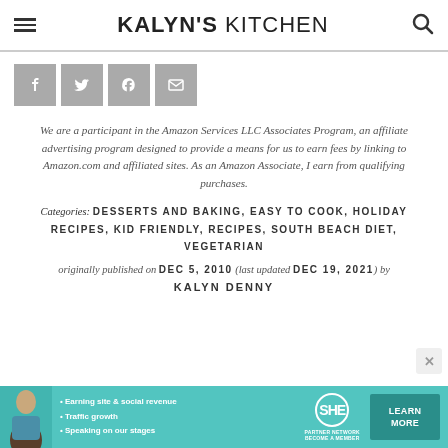KALYN'S KITCHEN
[Figure (other): Social sharing buttons: Facebook, Twitter, Pinterest, Email]
We are a participant in the Amazon Services LLC Associates Program, an affiliate advertising program designed to provide a means for us to earn fees by linking to Amazon.com and affiliated sites. As an Amazon Associate, I earn from qualifying purchases.
Categories: DESSERTS AND BAKING, EASY TO COOK, HOLIDAY RECIPES, KID FRIENDLY, RECIPES, SOUTH BEACH DIET, VEGETARIAN
originally published on DEC 5, 2010 (last updated DEC 19, 2021) by KALYN DENNY
[Figure (other): SHE Partner Network advertisement banner with person photo, bullet points about earning site revenue, traffic growth, speaking on stages, SHE logo, and Learn More button]